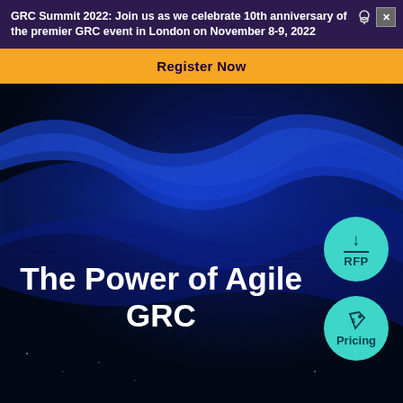GRC Summit 2022: Join us as we celebrate 10th anniversary of the premier GRC event in London on November 8-9, 2022
Register Now
[Figure (illustration): Dark blue hero banner with glowing blue wave/mesh pattern and two circular teal badges on the right (RFP and Pricing)]
The Power of Agile GRC